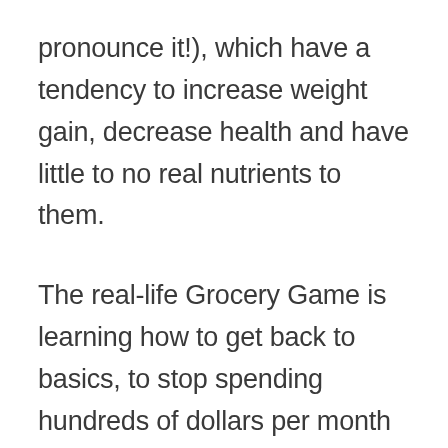pronounce it!), which have a tendency to increase weight gain, decrease health and have little to no real nutrients to them.
The real-life Grocery Game is learning how to get back to basics, to stop spending hundreds of dollars per month on food, and to learn to use the resources that you have